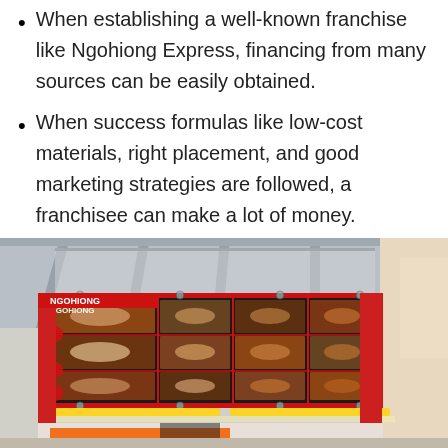When establishing a well-known franchise like Ngohiong Express, financing from many sources can be easily obtained.
When success formulas like low-cost materials, right placement, and good marketing strategies are followed, a franchisee can make a lot of money.
[Figure (photo): Photo of a Ngohiong Express food stall with a large menu board showing various Filipino street food items. The stall has red pillars, yellow lighting strip under the menu board, and the menu displays items with prices. The setting appears to be an outdoor or semi-outdoor location.]